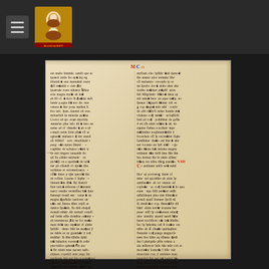[Navigation bar with hamburger menu and illuminated manuscript logo]
[Figure (photo): Scanned medieval illuminated manuscript page showing two columns of dense Gothic Latin text in dark brown/black ink with red and blue decorated initials, marginal annotations, on aged parchment with yellowed and worn edges.]